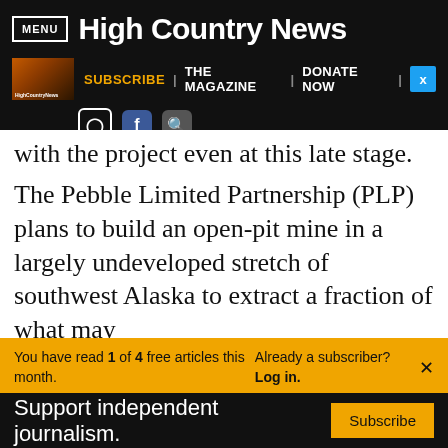MENU | High Country News | SUBSCRIBE | THE MAGAZINE | DONATE NOW
with the project even at this late stage.
The Pebble Limited Partnership (PLP) plans to build an open-pit mine in a largely undeveloped stretch of southwest Alaska to extract a fraction of what may
You have read 1 of 4 free articles this month. Already a subscriber? Log in.
Support independent journalism. Subscribe